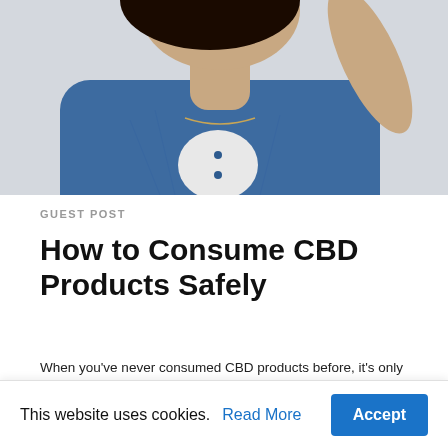[Figure (photo): Cropped photo of a woman in a blue denim jacket with a necklace, raising her hand, on a light background]
GUEST POST
How to Consume CBD Products Safely
When you've never consumed CBD products before, it's only natural to be worried about the consequences of doing so. You... Read More
5 months ago
[Figure (photo): Partial view of next article image with blue background and a dark circular shape visible]
This website uses cookies. Read More Accept